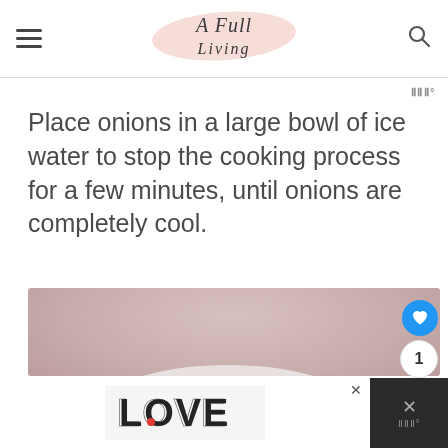A Full Living — navigation header with logo, hamburger menu, and search icon
Place onions in a large bowl of ice water to stop the cooking process for a few minutes, until onions are completely cool.
[Figure (photo): A white bowl on a pink/mauve stone surface, partially visible from above, containing ice water with onions]
Advertisement banner at bottom with LOVE graphic and close button